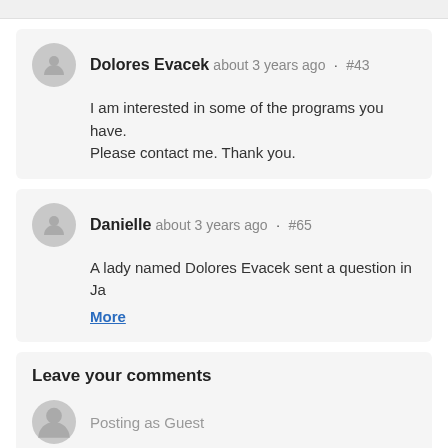Dolores Evacek about 3 years ago · #43
I am interested in some of the programs you have. Please contact me. Thank you.
Danielle about 3 years ago · #65
A lady named Dolores Evacek sent a question in Ja
More
Leave your comments
Posting as Guest